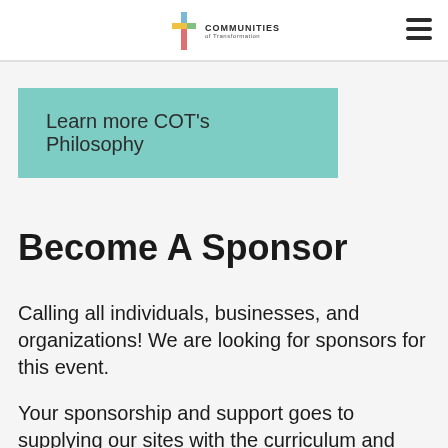Communities of Transformation
Learn more COT's Philosophy
Become A Sponsor
Calling all individuals, businesses, and organizations! We are looking for sponsors for this event.
Your sponsorship and support goes to supplying our sites with the curriculum and